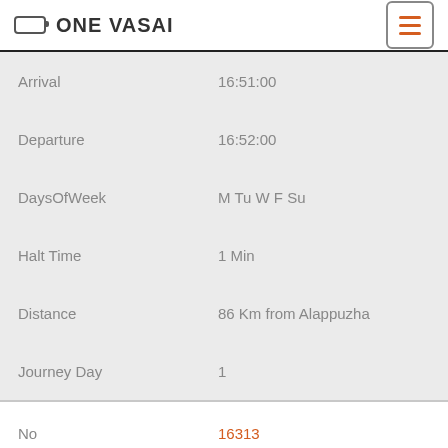ONE VASAI
| Field | Value |
| --- | --- |
| Arrival | 16:51:00 |
| Departure | 16:52:00 |
| DaysOfWeek | M Tu W F Su |
| Halt Time | 1 Min |
| Distance | 86 Km from Alappuzha |
| Journey Day | 1 |
| Field | Value |
| --- | --- |
| No | 16313 |
| Name | cannanore Express (AFK) |
| From | Ernakulam Junction |
| To | Cannanore |
| Arrival | 16:51:00 |
| Departure | 16:52:00 |